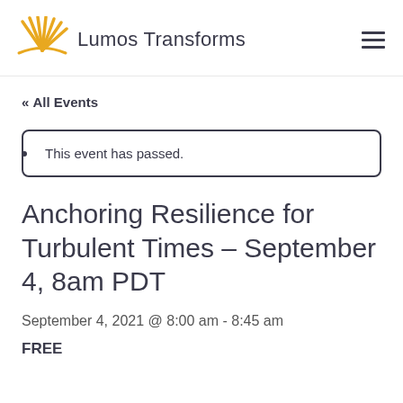Lumos Transforms
« All Events
This event has passed.
Anchoring Resilience for Turbulent Times – September 4, 8am PDT
September 4, 2021 @ 8:00 am - 8:45 am
FREE